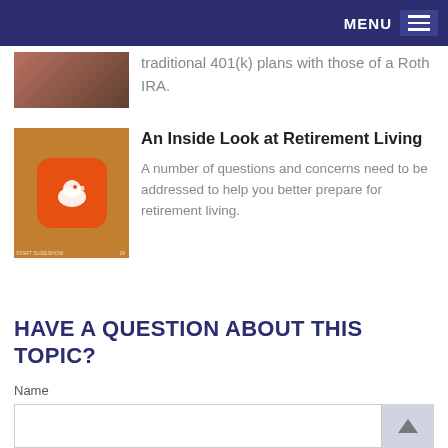MENU
traditional 401(k) plans with those of a Roth IRA.
[Figure (photo): Smartphone displaying a financial app with a bird/Robin icon on an orange background, placed on a surface with cables]
An Inside Look at Retirement Living
A number of questions and concerns need to be addressed to help you better prepare for retirement living.
HAVE A QUESTION ABOUT THIS TOPIC?
Name